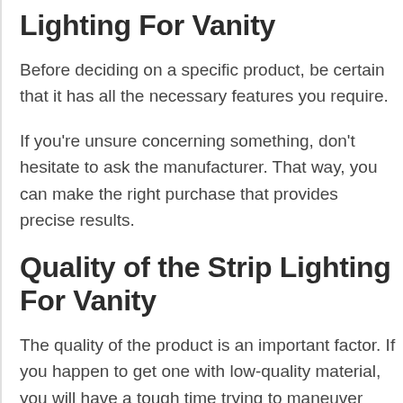Lighting For Vanity
Before deciding on a specific product, be certain that it has all the necessary features you require.
If you're unsure concerning something, don't hesitate to ask the manufacturer. That way, you can make the right purchase that provides precise results.
Quality of the Strip Lighting For Vanity
The quality of the product is an important factor. If you happen to get one with low-quality material, you will have a tough time trying to maneuver them.